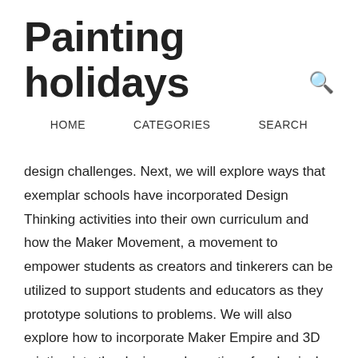Painting holidays
HOME   CATEGORIES   SEARCH
design challenges. Next, we will explore ways that exemplar schools have incorporated Design Thinking activities into their own curriculum and how the Maker Movement, a movement to empower students as creators and tinkerers can be utilized to support students and educators as they prototype solutions to problems. We will also explore how to incorporate Maker Empire and 3D printing into the design and creation of a physical product. Finally, we will create specific activities and examples that you can use with your teachers and students right away to foster exploration and creativity